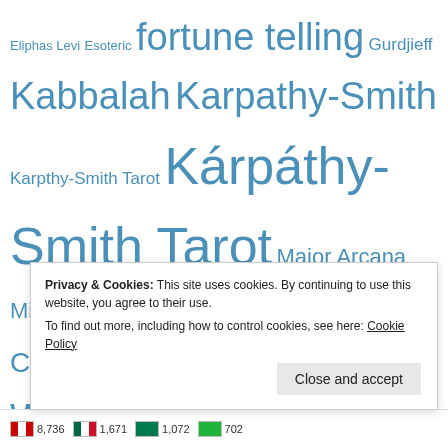Eliphas Levi Esoteric fortune telling Gurdjieff Kabbalah Karpathy-Smith Karpthy-Smith Tarot Kárpáthy-Smith Tarot Major Arcana Minor Arcana Numerology Pamela Colman Smith Pixie psychology Rider-Waite-Smith Rider-Waite Tarot RWS Sanctum Regnum Tarot Tarot art Tarot card Tarot card meaning tarotcards Tarot cards tarotdeck Tarot deck Tarot decks Tarot history Tarot of Cyclicity Tarot spread The Book of Thoth thefourthway The Pictorial Key to the Tarot therapy Unified Esoteric Tarot
Privacy & Cookies: This site uses cookies. By continuing to use this website, you agree to their use.
To find out more, including how to control cookies, see here: Cookie Policy
Close and accept
8,736  1,671  1,072  702